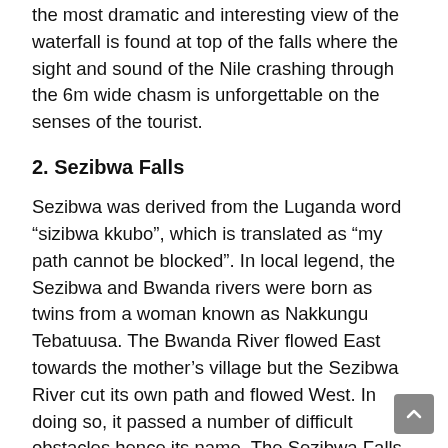the most dramatic and interesting view of the waterfall is found at top of the falls where the sight and sound of the Nile crashing through the 6m wide chasm is unforgettable on the senses of the tourist.
2. Sezibwa Falls
Sezibwa was derived from the Luganda word “sizibwa kkubo”, which is translated as “my path cannot be blocked”. In local legend, the Sezibwa and Bwanda rivers were born as twins from a woman known as Nakkungu Tebatuusa. The Bwanda River flowed East towards the mother’s village but the Sezibwa River cut its own path and flowed West. In doing so, it passed a number of difficult obstacles hence its name. The Sezibwa Falls are approximately 20 miles east of Kampala- Jinja Highway. The site is a Buganda Heritage Site thought to be a powerful place where many go for blessings. It is marked with an out-span of sharp-edged rocks and the magnificent sound of soothing waters